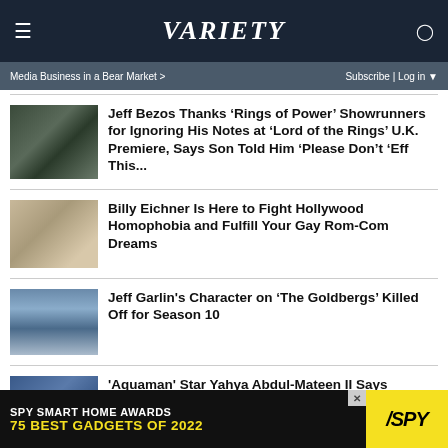VARIETY
Media Business in a Bear Market >   Subscribe | Log in
Jeff Bezos Thanks ‘Rings of Power’ Showrunners for Ignoring His Notes at ‘Lord of the Rings’ U.K. Premiere, Says Son Told Him ‘Please Don’t ‘Eff This...
Billy Eichner Is Here to Fight Hollywood Homophobia and Fulfill Your Gay Rom-Com Dreams
Jeff Garlin's Character on ‘The Goldbergs’ Killed Off for Season 10
'Aquaman' Star Yahya Abdul-Mateen II Says
SPY SMART HOME AWARDS  75 BEST GADGETS OF 2022